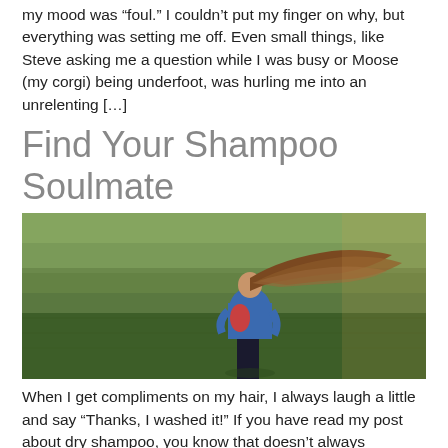my mood was “foul.” I couldn’t put my finger on why, but everything was setting me off. Even small things, like Steve asking me a question while I was busy or Moose (my corgi) being underfoot, was hurling me into an unrelenting […]
Find Your Shampoo Soulmate
[Figure (photo): A woman with long hair flowing in the wind standing in a green field, viewed from behind, wearing a blue jacket]
When I get compliments on my hair, I always laugh a little and say “Thanks, I washed it!” If you have read my post about dry shampoo, you know that doesn’t always happen.... But in all honesty, it looks amazing on shampoo days because I have found a shampoo and conditioner that work